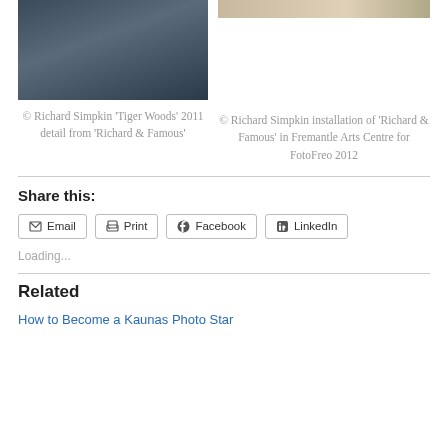[Figure (photo): Photo of two men, dark clothing, one wearing Nike shirt]
© Richard Simpkin 'Tiger Woods' 2011 detail from 'Richard & Famous'
[Figure (photo): Partial photo, light tones, cropped at top]
© Richard Simpkin installation of 'Richard & Famous' in Fremantle Arts Centre for FotoFreo 2012
Share this:
Email | Print | Facebook | LinkedIn
Loading...
Related
How to Become a Kaunas Photo Star